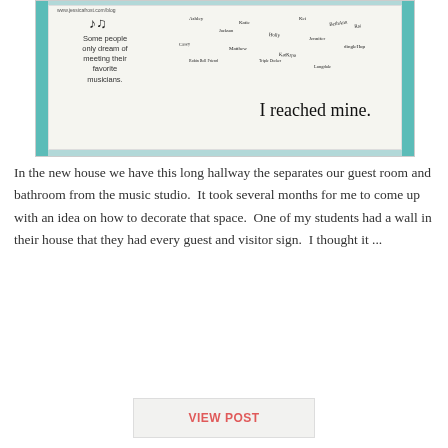[Figure (photo): A white poster/board covered in signatures and handwritten messages. The board features a music note graphic and text reading 'Some people only dream of meeting their favorite musicians.' Many signatures and inscriptions are written across the board, including a large cursive 'I reached mine.' in the lower right area. The board appears to be a guest-signing or autograph board. The photo background shows a teal/turquoise wall.]
In the new house we have this long hallway the separates our guest room and bathroom from the music studio.  It took several months for me to come up with an idea on how to decorate that space.  One of my students had a wall in their house that they had every guest and visitor sign.  I thought it ...
VIEW POST